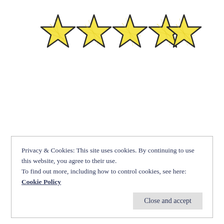[Figure (illustration): Five hand-drawn style stars filled with yellow crayon-like coloring and dark outlines, arranged in a horizontal row.]
Privacy & Cookies: This site uses cookies. By continuing to use this website, you agree to their use.
To find out more, including how to control cookies, see here:
Cookie Policy
Close and accept